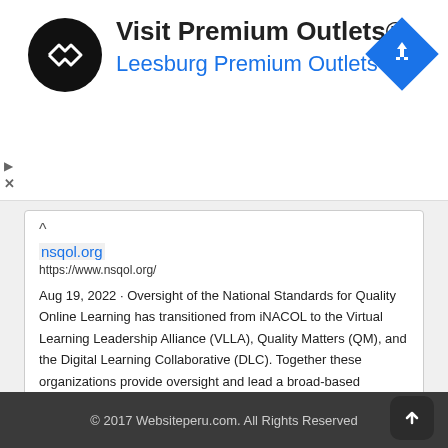[Figure (other): Advertisement banner for Visit Premium Outlets® - Leesburg Premium Outlets with logo and navigation arrow icon]
nsqol.org
https://www.nsqol.org/
Aug 19, 2022 · Oversight of the National Standards for Quality Online Learning has transitioned from iNACOL to the Virtual Learning Leadership Alliance (VLLA), Quality Matters (QM), and the Digital Learning Collaborative (DLC). Together these organizations provide oversight and lead a broad-based community effort to keep the standards current and relevant.
DA: 94 PA: 73 MOZ Rank: 57
© 2017 Websiteperu.com. All Rights Reserved